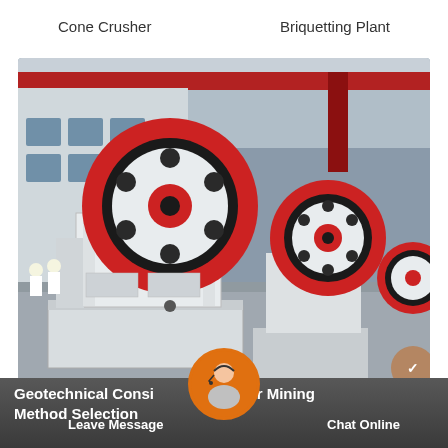Cone Crusher    Briquetting Plant
[Figure (photo): Industrial jaw crushers lined up in a factory warehouse. Large white and red flywheel machines visible in foreground and background. Workers in white hard hats visible on left side. Red overhead crane beam visible at top.]
Geotechnical Considerations for Mining Method Selection
Leave Message    Chat Online